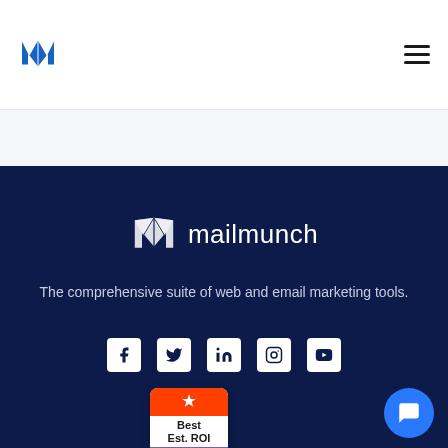[Figure (logo): Mailmunch blue geometric M logo in header]
[Figure (other): Hamburger menu icon (three horizontal lines) in header top right]
[Figure (logo): Mailmunch white logo with text 'mailmunch' in dark footer section]
The comprehensive suite of web and email marketing tools.
[Figure (infographic): Social media icons: Facebook, Twitter, LinkedIn, Instagram, YouTube — white on dark navy background]
[Figure (other): G2 badge: Best Est. ROI Winter 2022]
[Figure (other): Blue chat support button with speech bubble icon, bottom right]